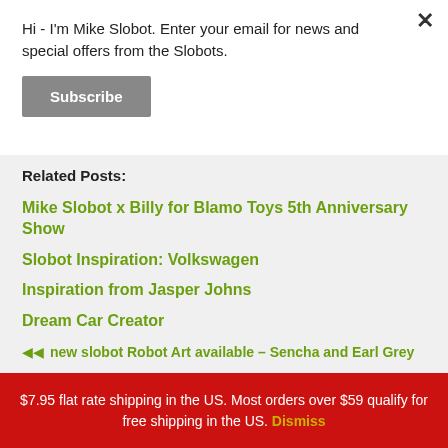Hi - I'm Mike Slobot. Enter your email for news and special offers from the Slobots.
Subscribe
Related Posts:
Mike Slobot x Billy for Blamo Toys 5th Anniversary Show
Slobot Inspiration: Volkswagen
Inspiration from Jasper Johns
Dream Car Creator
Videos of Some Slobot Sculptures
new slobot Robot Art available – Sencha and Earl Grey
$7.95 flat rate shipping in the US. Most orders over $59 qualify for free shipping in the US. Dismiss